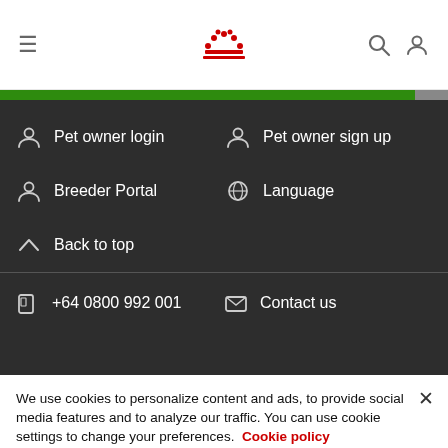= [crown logo] [search icon] [user icon]
Pet owner login
Pet owner sign up
Breeder Portal
Language
Back to top
+64 0800 992 001
Contact us
We use cookies to personalize content and ads, to provide social media features and to analyze our traffic. You can use cookie settings to change your preferences. Cookie policy
Cookies Settings